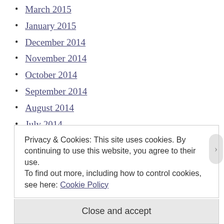March 2015
January 2015
December 2014
November 2014
October 2014
September 2014
August 2014
July 2014
May 2014
April 2014
March 2014
Privacy & Cookies: This site uses cookies. By continuing to use this website, you agree to their use. To find out more, including how to control cookies, see here: Cookie Policy
Close and accept